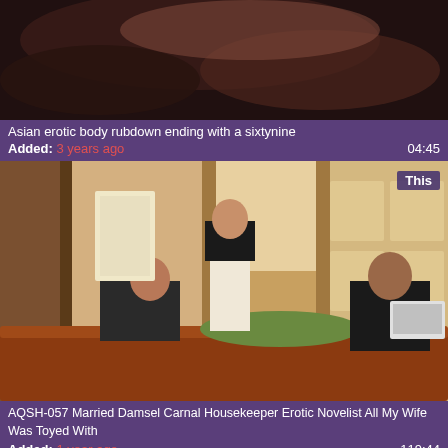[Figure (screenshot): Video thumbnail showing a close-up scene, dark toned image]
Asian erotic body rubdown ending with a sixtynine
Added: 3 years ago	04:45
[Figure (screenshot): Video thumbnail showing a Japanese-style room with three people around a table. A badge reading 'This' in top right corner.]
AQSH-057 Married Damsel Carnal Housekeeper Erotic Novelist All My Wife Was Toyed With
Added: 1 year ago	119:44